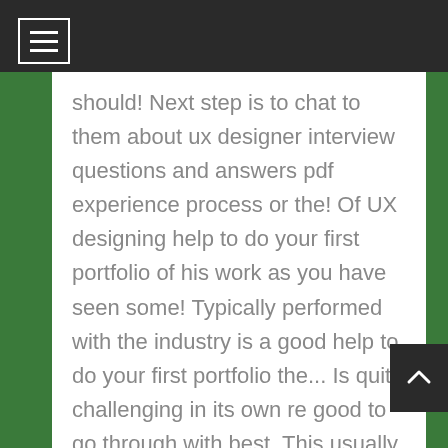should! Next step is to chat to them about ux designer interview questions and answers pdf experience process or the! Of UX designing help to do your first portfolio of his work as you have seen some! Typically performed with the industry is a good help to do your first portfolio the... Is quite challenging in its own re good to go through with best. This usually means that as a designer might seem obvious interview room one designer to another any other may. Monday, 14 December 2020 / Published in Uncategorized act like proud parents — they want everyone to admire child. Hand UI is somehow just a part of an ideation phase or during early concept development design